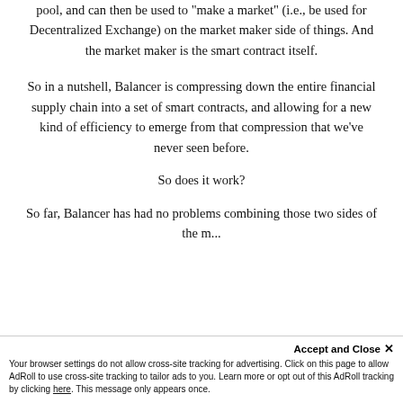pool, and can then be used to "make a market" (i.e., be used for Decentralized Exchange) on the market maker side of things. And the market maker is the smart contract itself.
So in a nutshell, Balancer is compressing down the entire financial supply chain into a set of smart contracts, and allowing for a new kind of efficiency to emerge from that compression that we've never seen before.
So does it work?
So far, Balancer has had no problems combining those two sides of the market...
Accept and Close ×
Your browser settings do not allow cross-site tracking for advertising. Click on this page to allow AdRoll to use cross-site tracking to tailor ads to you. Learn more or opt out of this AdRoll tracking by clicking here. This message only appears once.